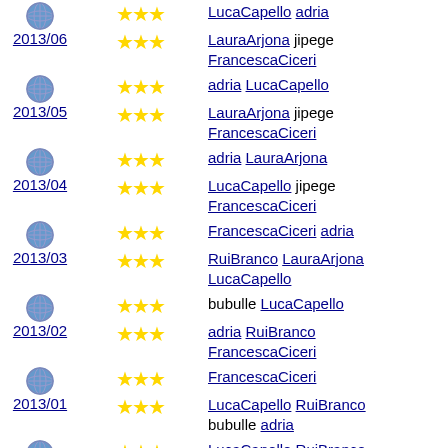globe 3stars LucaCapello adria
2013/06 2stars LauraArjona jipege FrancescaCiceri
globe 3stars adria LucaCapello
2013/05 2stars LauraArjona jipege FrancescaCiceri
globe 3stars adria LauraArjona
2013/04 2stars LucaCapello jipege FrancescaCiceri
globe 3stars FrancescaCiceri adria
2013/03 2stars RuiBranco LauraArjona LucaCapello
globe 3stars bubulle LucaCapello
2013/02 2stars adria RuiBranco FrancescaCiceri
globe 3stars FrancescaCiceri
2013/01 2stars LucaCapello RuiBranco bubulle adria
globe 3stars LucaCapello RuiBranco